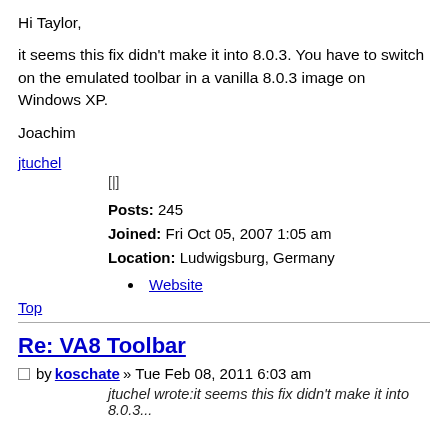Hi Taylor,
it seems this fix didn't make it into 8.0.3. You have to switch on the emulated toolbar in a vanilla 8.0.3 image on Windows XP.
Joachim
jtuchel
[|]
Posts: 245
Joined: Fri Oct 05, 2007 1:05 am
Location: Ludwigsburg, Germany
Website
Top
Re: VA8 Toolbar
by koschate » Tue Feb 08, 2011 6:03 am
jtuchel wrote:it seems this fix didn't make it into 8.0.3...